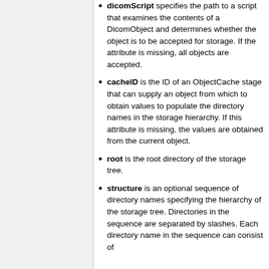dicomScript specifies the path to a script that examines the contents of a DicomObject and determines whether the object is to be accepted for storage. If the attribute is missing, all objects are accepted.
cacheID is the ID of an ObjectCache stage that can supply an object from which to obtain values to populate the directory names in the storage hierarchy. If this attribute is missing, the values are obtained from the current object.
root is the root directory of the storage tree.
structure is an optional sequence of directory names specifying the hierarchy of the storage tree. Directories in the sequence are separated by slashes. Each directory name in the sequence can consist of